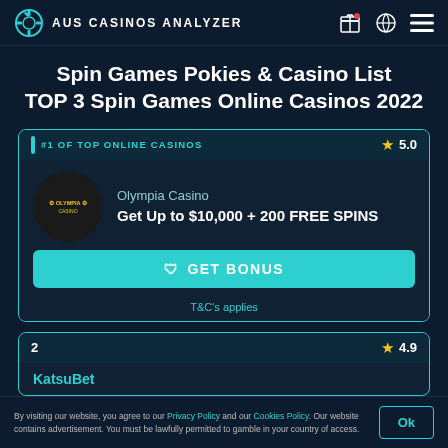AUS CASINOS ANALYZER
Spin Games Pokies & Casino List TOP 3 Spin Games Online Casinos 2022
#1 OF TOP ONLINE CASINOS
5.0
Olympia Casino
Get Up to $10,000 + 200 FREE SPINS
GET BONUS
T&C's applies
2
4.9
KatsuBet
By visiting our website, you agree to our Privacy Policy and our Cookies Policy. Our website contains advertisement. You must be lawfully permitted to gamble in your country of access.